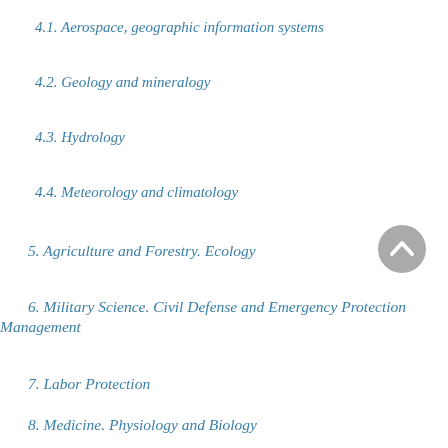4.1. Aerospace, geographic information systems
4.2. Geology and mineralogy
4.3. Hydrology
4.4. Meteorology and climatology
5. Agriculture and Forestry. Ecology
6. Military Science. Civil Defense and Emergency Protection Management
7. Labor Protection
8. Medicine. Physiology and Biology
9. Psychology. Pedagogy and Teaching Methods